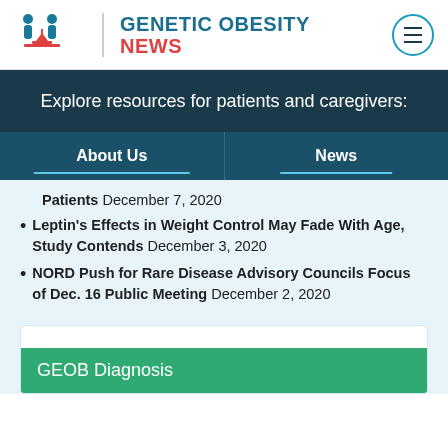GENETIC OBESITY NEWS
Explore resources for patients and caregivers:
About Us
News
Patients December 7, 2020
Leptin's Effects in Weight Control May Fade With Age, Study Contends December 3, 2020
NORD Push for Rare Disease Advisory Councils Focus of Dec. 16 Public Meeting December 2, 2020
GEOB Diagnosis